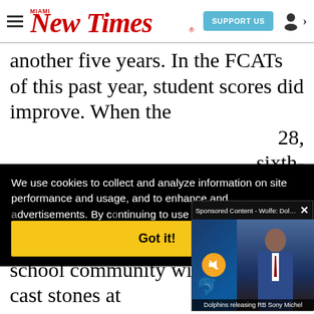Miami New Times | SUPPORT US
another five years. In the FCATs of this past year, student scores did improve. When the ...28, ...sixth-
[Figure (screenshot): Cookie consent overlay with text: We use cookies to collect and analyze information on site performance and usage, and to enhance and ... advertisements. By c... continuing to use the ... cookies to be placed,... our cookies policy a...]
[Figure (screenshot): Sponsored Content video popup - Wolfe: Dolphins re... showing NFL Network broadcast with presenter. Caption: Dolphins releasing RB Sony Michel]
[Figure (screenshot): Got it! yellow button on black cookie consent bar]
the rter- school community will publicly cast stones at